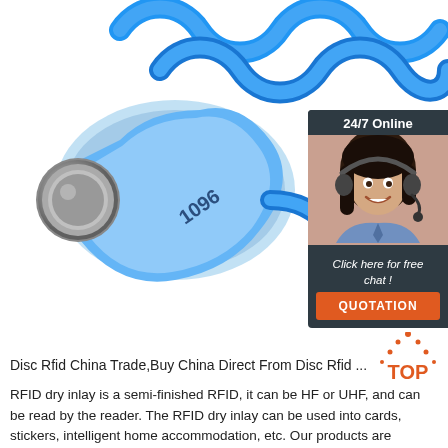[Figure (photo): Blue RFID silicone wristband with coiled antenna and metallic disc, number 1096 printed on band, white background]
[Figure (infographic): Customer service chat widget: '24/7 Online' header in dark teal, photo of smiling woman with headset, 'Click here for free chat!' text, orange QUOTATION button]
[Figure (infographic): Orange TOP badge with dotted triangle/arrow pointing up, text 'TOP' in orange]
Disc Rfid China Trade,Buy China Direct From Disc Rfid ...
RFID dry inlay is a semi-finished RFID, it can be HF or UHF, and can be read by the reader. The RFID dry inlay can be used into cards, stickers, intelligent home accommodation, etc. Our products are